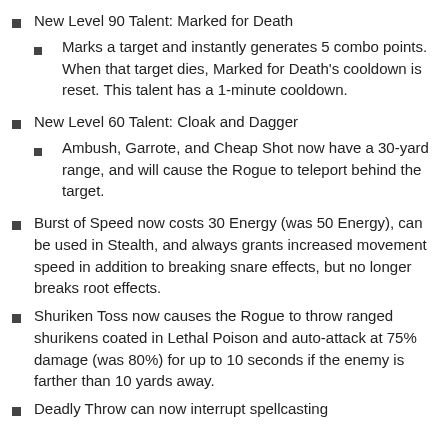New Level 90 Talent: Marked for Death
Marks a target and instantly generates 5 combo points. When that target dies, Marked for Death's cooldown is reset. This talent has a 1-minute cooldown.
New Level 60 Talent: Cloak and Dagger
Ambush, Garrote, and Cheap Shot now have a 30-yard range, and will cause the Rogue to teleport behind the target.
Burst of Speed now costs 30 Energy (was 50 Energy), can be used in Stealth, and always grants increased movement speed in addition to breaking snare effects, but no longer breaks root effects.
Shuriken Toss now causes the Rogue to throw ranged shurikens coated in Lethal Poison and auto-attack at 75% damage (was 80%) for up to 10 seconds if the enemy is farther than 10 yards away.
Deadly Throw can now interrupt spellcasting